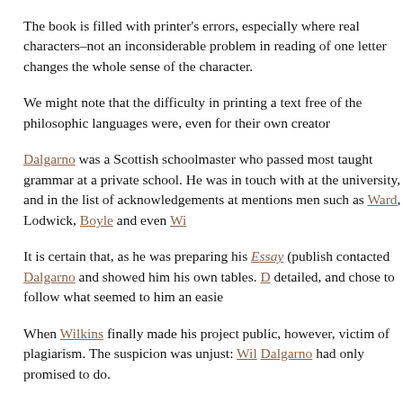The book is filled with printer's errors, especially where real characters–not an inconsiderable problem in reading of one letter changes the whole sense of the character.
We might note that the difficulty in printing a text free of the philosophic languages were, even for their own creator
Dalgarno was a Scottish schoolmaster who passed most taught grammar at a private school. He was in touch with at the university, and in the list of acknowledgements at mentions men such as Ward, Lodwick, Boyle and even Wi
It is certain that, as he was preparing his Essay (publish contacted Dalgarno and showed him his own tables. D detailed, and chose to follow what seemed to him an easie
When Wilkins finally made his project public, however, victim of plagiarism. The suspicion was unjust: Wil Dalgarno had only promised to do.